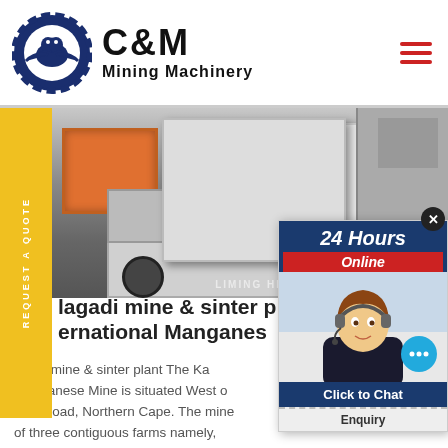[Figure (logo): C&M Mining Machinery logo with eagle gear emblem on left and bold C&M text with 'Mining Machinery' below]
[Figure (photo): Mining machinery equipment photo showing industrial vehicles and equipment with watermark text]
[Figure (infographic): 24 Hours Online chat popup with agent photo, Click to Chat button, and Enquiry section at bottom]
lagadi mine & sinter p ernational Manganes
agadi mine & sinter plant The Ka Manganese Mine is situated West o R31 Road, Northern Cape. The mine of three contiguous farms namely,